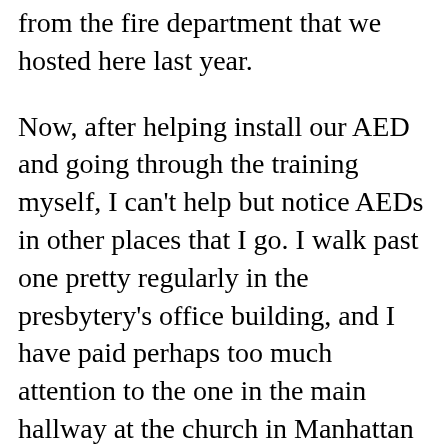from the fire department that we hosted here last year.
Now, after helping install our AED and going through the training myself, I can't help but notice AEDs in other places that I go. I walk past one pretty regularly in the presbytery's office building, and I have paid perhaps too much attention to the one in the main hallway at the church in Manhattan where my chorus rehearses. Last weekend, as I traveled to Tennessee to participate in my cousin's daughter's baptism, I paid close attention to the AEDs in the airport! The goal of this sort of broad installation of these incredible life-saving devices is to make them widely available for easy access in an